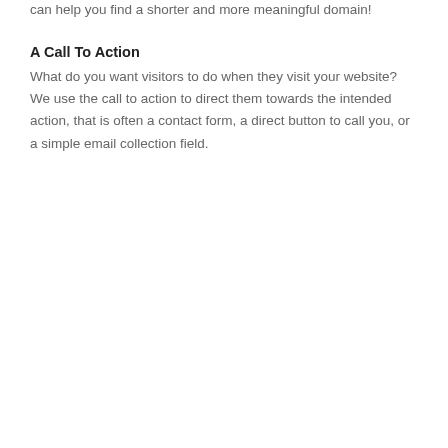potential clients you're the best!
A Domain Name
Think like www.mybusinessname.com or www.mybiz.com. It's best to keep it simple, easy to remember, and easy to communicate. Avoid unnecessary characters, and keep it short! Also, you can choose from hundreds of different domain extensions, for example, .com, .co.uk, .red,. me, using them can help you find a shorter and more meaningful domain!
A Call To Action
What do you want visitors to do when they visit your website? We use the call to action to direct them towards the intended action, that is often a contact form, a direct button to call you, or a simple email collection field.